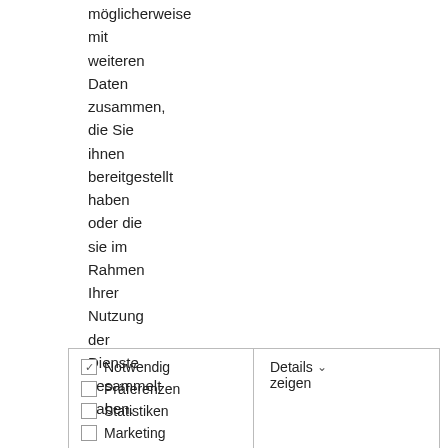möglicherweise mit weiteren Daten zusammen, die Sie ihnen bereitgestellt haben oder die sie im Rahmen Ihrer Nutzung der Dienste gesammelt haben.
[Figure (screenshot): UI widget showing checkboxes for Notwendig (checked), Präferenzen, Statistiken, Marketing on the left, and 'Details zeigen' with dropdown arrow on the right.]